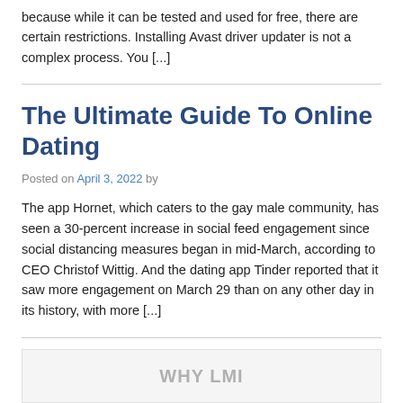because while it can be tested and used for free, there are certain restrictions. Installing Avast driver updater is not a complex process. You [...]
The Ultimate Guide To Online Dating
Posted on April 3, 2022 by
The app Hornet, which caters to the gay male community, has seen a 30-percent increase in social feed engagement since social distancing measures began in mid-March, according to CEO Christof Wittig. And the dating app Tinder reported that it saw more engagement on March 29 than on any other day in its history, with more [...]
WHY LMI